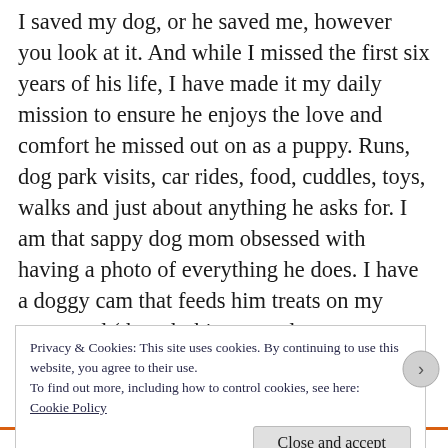I saved my dog, or he saved me, however you look at it. And while I missed the first six years of his life, I have made it my daily mission to ensure he enjoys the love and comfort he missed out on as a puppy. Runs, dog park visits, car rides, food, cuddles, toys, walks and just about anything he asks for. I am that sappy dog mom obsessed with having a photo of everything he does. I have a doggy cam that feeds him treats on my command (though this was only a recent addition to our lives). He is my baby boy. My Pawko Tawko. My “Mr. Sweet Face” a la “Jane the Virgin.” I’ve moved houses to make him
Privacy & Cookies: This site uses cookies. By continuing to use this website, you agree to their use.
To find out more, including how to control cookies, see here:
Cookie Policy
Close and accept